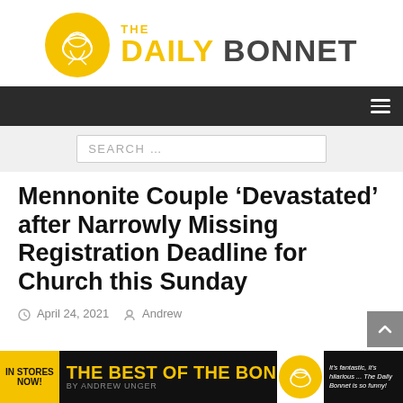[Figure (logo): The Daily Bonnet logo: yellow circle with bonnet illustration on left, 'THE DAILY BONNET' text on right in bold with yellow and grey colors]
[Figure (screenshot): Dark navigation bar with hamburger menu icon on the right]
[Figure (screenshot): Light grey search bar area with a search input field showing placeholder text 'SEARCH ...']
Mennonite Couple ‘Devastated’ after Narrowly Missing Registration Deadline for Church this Sunday
April 24, 2021   Andrew
[Figure (infographic): Yellow and black advertisement banner: 'IN STORES NOW!' on yellow background, 'The Best of the Bonnet' in large yellow text on black background, Daily Bonnet logo circle, and a quote: 'It’s fantastic, it’s hilarious ... The Daily Bonnet is so funny!']